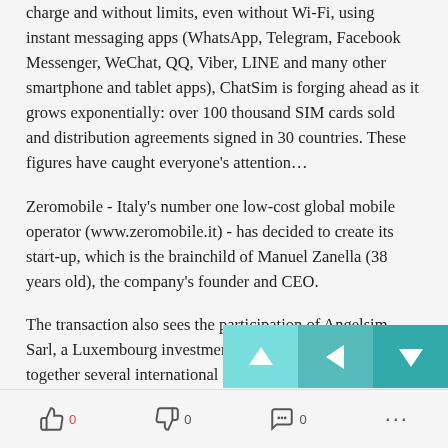charge and without limits, even without Wi-Fi, using instant messaging apps (WhatsApp, Telegram, Facebook Messenger, WeChat, QQ, Viber, LINE and many other smartphone and tablet apps), ChatSim is forging ahead as it grows exponentially: over 100 thousand SIM cards sold and distribution agreements signed in 30 countries. These figures have caught everyone's attention…
Zeromobile - Italy's number one low-cost global mobile operator (www.zeromobile.it) - has decided to create its start-up, which is the brainchild of Manuel Zanella (38 years old), the company's founder and CEO.
The transaction also sees the participation of Angelsim Sarl, a Luxembourg investment company that groups together several international investors with many years of experience in investment to support start-ups and fledgling companies.
This has led to the agreement between Zeromobile and Angelsim…
👍 0   👎 0   💬 0   ···